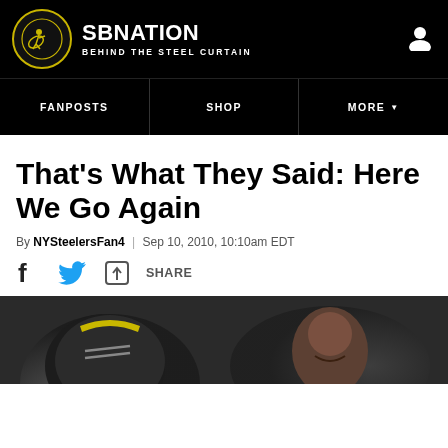SBNATION - BEHIND THE STEEL CURTAIN
FANPOSTS | SHOP | MORE
That's What They Said: Here We Go Again
By NYSteelersFan4 | Sep 10, 2010, 10:10am EDT
SHARE
[Figure (photo): Photo of a Pittsburgh Steelers player wearing a helmet and another player's face visible at right, shot in low light at a stadium.]